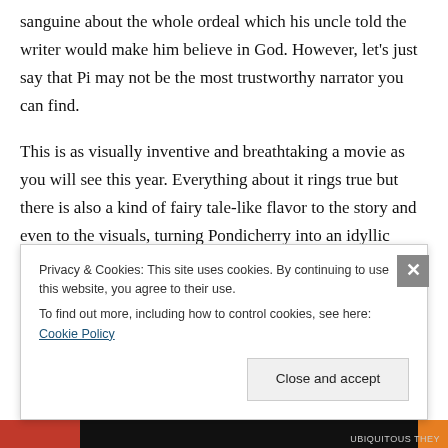sanguine about the whole ordeal which his uncle told the writer would make him believe in God. However, let's just say that Pi may not be the most trustworthy narrator you can find.
This is as visually inventive and breathtaking a movie as you will see this year. Everything about it rings true but there is also a kind of fairy tale-like flavor to the story and even to the visuals, turning Pondicherry into an idyllic place, and a sea into a multiple personality disorder entity, alternately calm as glass with a cloud-streaked sky
Privacy & Cookies: This site uses cookies. By continuing to use this website, you agree to their use. To find out more, including how to control cookies, see here: Cookie Policy
Close and accept